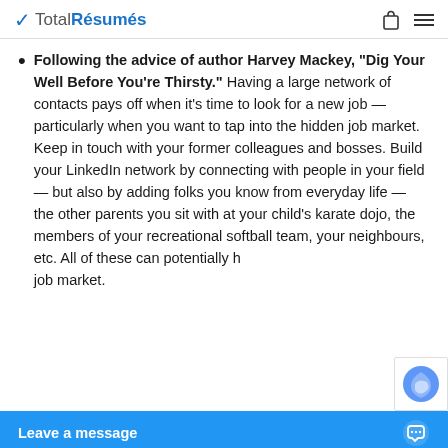TotalRésumés
Following the advice of author Harvey Mackey, "Dig Your Well Before You're Thirsty." Having a large network of contacts pays off when it's time to look for a new job — particularly when you want to tap into the hidden job market. Keep in touch with your former colleagues and bosses. Build your LinkedIn network by connecting with people in your field — but also by adding folks you know from everyday life — the other parents you sit with at your child's karate dojo, the members of your recreational softball team, your neighbours, etc. All of these can potentially help you tap into the hidden job market.